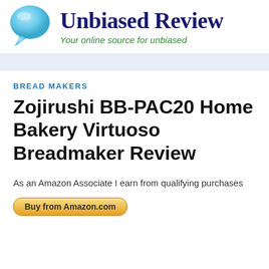Unbiased Review — Your online source for unbiased
BREAD MAKERS
Zojirushi BB-PAC20 Home Bakery Virtuoso Breadmaker Review
As an Amazon Associate I earn from qualifying purchases
Buy from Amazon.com